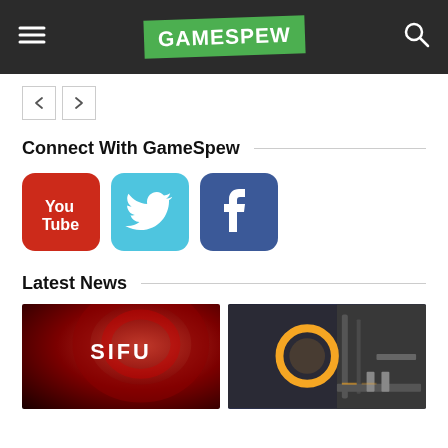GAMESPEW
[Figure (logo): GameSpew logo — white bold text on green tilted rectangle in dark header bar]
Connect With GameSpew
[Figure (infographic): Three social media icons: YouTube (red), Twitter (blue), Facebook (dark blue)]
Latest News
[Figure (photo): SIFU game promotional image with red background and the word SIFU in white]
[Figure (photo): Portal or sci-fi game screenshot with circular orange light and industrial corridor]